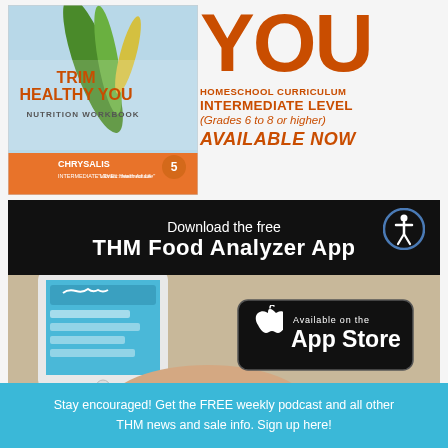[Figure (illustration): Book cover for 'Trim Healthy You Nutrition Workbook' by Chrysalis, Intermediate Level, with green chili pepper imagery and orange accent color at bottom. Tagline: 'Vibrant Health for Life']
YOU
HOMESCHOOL CURRICULUM
INTERMEDIATE LEVEL
(Grades 6 to 8 or higher)
AVAILABLE NOW
[Figure (infographic): Black banner advertisement for THM Food Analyzer App. Top section: 'Download the free THM Food Analyzer App' in white text on black background with accessibility icon circle top right. Lower section: photo of smartphone with app, and Apple App Store badge reading 'Available on the App Store'.]
Stay encouraged! Get the FREE weekly podcast and all other THM news and sale info. Sign up here!